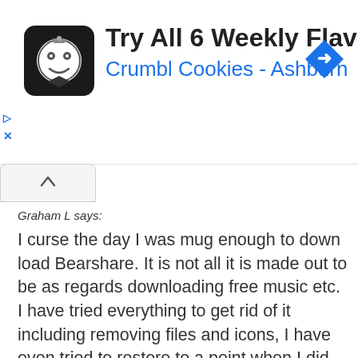[Figure (other): Advertisement banner for Crumbl Cookies - Ashburn showing cookie logo, title 'Try All 6 Weekly Flavors', subtitle 'Crumbl Cookies - Ashburn', and a blue diamond navigation arrow icon]
Graham L says:
I curse the day I was mug enough to down load Bearshare. It is not all it is made out to be as regards downloading free music etc. I have tried everything to get rid of it including removing files and icons, I have even tried to restore to a point when I did not have the programe. It has overridden my toolbar and crops up in address bar and I cant get Firefox on it's own as I